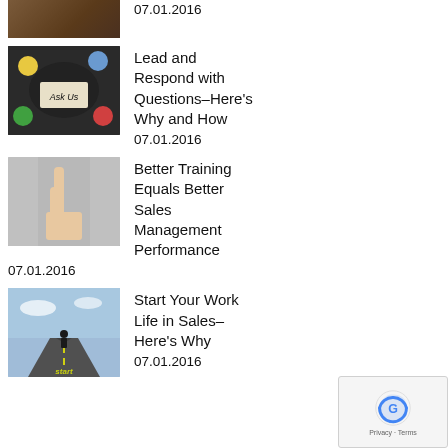[Figure (photo): Partial image of a person at top of page]
07.01.2016
[Figure (photo): Group of people around a sign that says Ask Us]
Lead and Respond with Questions–Here's Why and How
07.01.2016
[Figure (photo): Hand with index finger pointing up]
Better Training Equals Better Sales Management Performance
07.01.2016
[Figure (photo): Person standing at start of a long road with START written on ground]
Start Your Work Life in Sales– Here's Why
07.01.2016